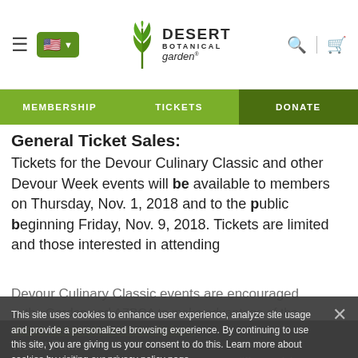Desert Botanical Garden — navigation header with hamburger menu, flag selector, logo, search, and cart icons
MEMBERSHIP | TICKETS | DONATE
General Ticket Sales:
Tickets for the Devour Culinary Classic and other Devour Week events will be available to members on Thursday, Nov. 1, 2018 and to the public beginning Friday, Nov. 9, 2018. Tickets are limited and those interested in attending Devour Culinary Classic events are encouraged ... the Garden and AZBCA to make advantage of the member pre-sale. Tickets will be available for purchase at
classic.devourphoenix.com/tickets.
Ticket Packages
For the 20... Culinary Classic... there are two different ticket packages available. Cost
This site uses cookies to enhance user experience, analyze site usage and provide a personalized browsing experience. By continuing to use this site, you are giving us your consent to do this. Learn more about cookies by visiting our privacy policy page.